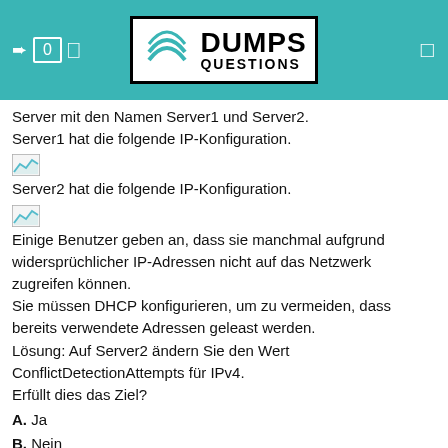DumpsQuestions
Server mit den Namen Server1 und Server2.
Server1 hat die folgende IP-Konfiguration.
[Figure (screenshot): IP-Konfiguration Screenshot Placeholder 1]
Server2 hat die folgende IP-Konfiguration.
[Figure (screenshot): IP-Konfiguration Screenshot Placeholder 2]
Einige Benutzer geben an, dass sie manchmal aufgrund widersprüchlicher IP-Adressen nicht auf das Netzwerk zugreifen können.
Sie müssen DHCP konfigurieren, um zu vermeiden, dass bereits verwendete Adressen geleast werden.
Lösung: Auf Server2 ändern Sie den Wert ConflictDetectionAttempts für IPv4.
Erfüllt dies das Ziel?
A. Ja
B. Nein
Answer: B